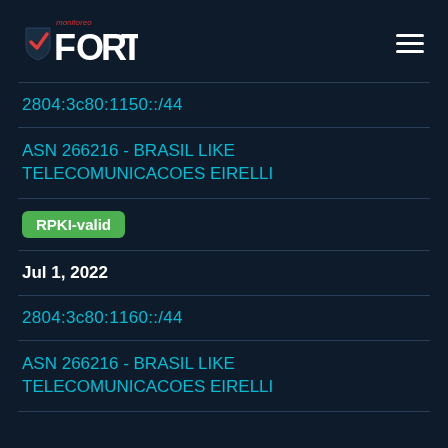FORT monitoreo
2804:3c80:1150::/44
ASN 266216 - BRASIL LIKE TELECOMUNICACOES EIRELLI
RPKI-valid
Jul 1, 2022
2804:3c80:1160::/44
ASN 266216 - BRASIL LIKE TELECOMUNICACOES EIRELLI